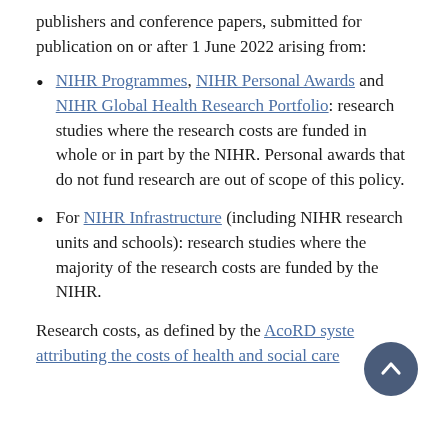publishers and conference papers, submitted for publication on or after 1 June 2022 arising from:
NIHR Programmes, NIHR Personal Awards and NIHR Global Health Research Portfolio: research studies where the research costs are funded in whole or in part by the NIHR. Personal awards that do not fund research are out of scope of this policy.
For NIHR Infrastructure (including NIHR research units and schools): research studies where the majority of the research costs are funded by the NIHR.
Research costs, as defined by the AcoRD system attributing the costs of health and social care